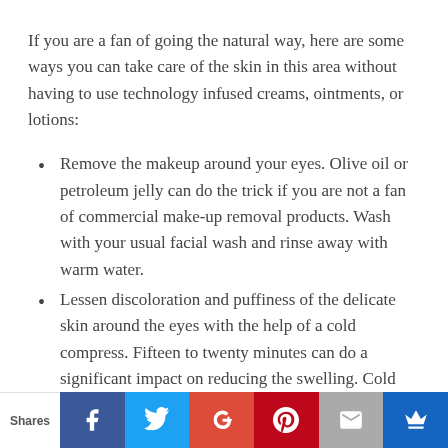If you are a fan of going the natural way, here are some ways you can take care of the skin in this area without having to use technology infused creams, ointments, or lotions:
Remove the makeup around your eyes. Olive oil or petroleum jelly can do the trick if you are not a fan of commercial make-up removal products. Wash with your usual facial wash and rinse away with warm water.
Lessen discoloration and puffiness of the delicate skin around the eyes with the help of a cold compress. Fifteen to twenty minutes can do a significant impact on reducing the swelling. Cold packs of cucumber or frozen vegetables will do the trick.
Shares | Facebook | Twitter | Google+ | Pinterest | Email | Crown